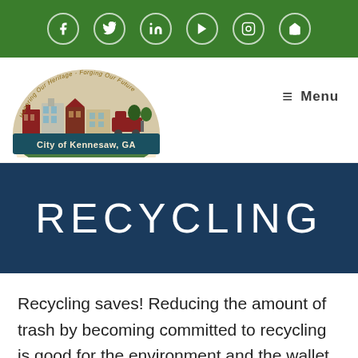Social media icons: Facebook, Twitter, LinkedIn, YouTube, Instagram, Home
[Figure (logo): City of Kennesaw, GA logo — semicircular illustration of historic city buildings with text 'Honoring Our Heritage - Forging Our Future' around the arc and 'City of Kennesaw, GA' in a dark teal banner below]
≡ Menu
RECYCLING
Recycling saves! Reducing the amount of trash by becoming committed to recycling is good for the environment and the wallet. The city collects over 20,000 tons of garbage a year. The average